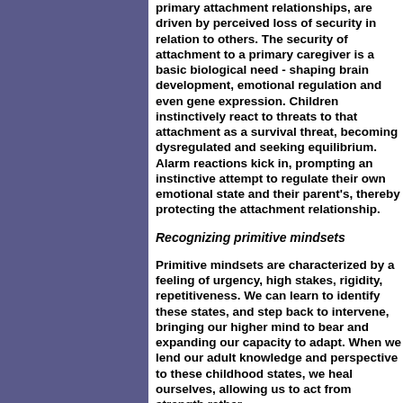primary attachment relationships, are driven by perceived loss of security in relation to others. The security of attachment to a primary caregiver is a basic biological need - shaping brain development, emotional regulation and even gene expression. Children instinctively react to threats to that attachment as a survival threat, becoming dysregulated and seeking equilibrium. Alarm reactions kick in, prompting an instinctive attempt to regulate their own emotional state and their parent's, thereby protecting the attachment relationship.
Recognizing primitive mindsets
Primitive mindsets are characterized by a feeling of urgency, high stakes, rigidity, repetitiveness. We can learn to identify these states, and step back to intervene, bringing our higher mind to bear and expanding our capacity to adapt. When we lend our adult knowledge and perspective to these childhood states, we heal ourselves, allowing us to act from strength rather